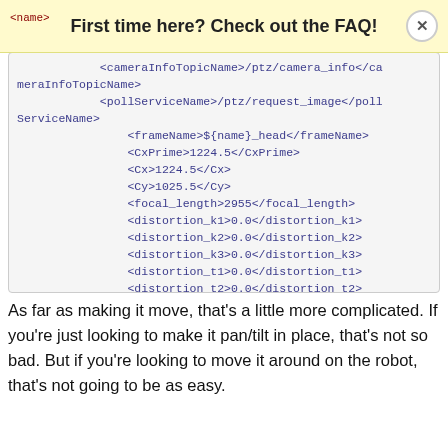First time here? Check out the FAQ!
<cameraInfoTopicName>/ptz/camera_info</cameraInfoTopicName>
                <pollServiceName>/ptz/request_image</pollServiceName>
                <frameName>${name}_head</frameName>
                <CxPrime>1224.5</CxPrime>
                <Cx>1224.5</Cx>
                <Cy>1025.5</Cy>
                <focal_length>2955</focal_length>
                <distortion_k1>0.0</distortion_k1>
                <distortion_k2>0.0</distortion_k2>
                <distortion_k3>0.0</distortion_k3>
                <distortion_t1>0.0</distortion_t1>
                <distortion_t2>0.0</distortion_t2>
                <interface:camera name="${name}_iface" />
            </controller:gazebo_ros_prosilica>
        </sensor:camera>
</gazebo>
As far as making it move, that's a little more complicated. If you're just looking to make it pan/tilt in place, that's not so bad. But if you're looking to move it around on the robot, that's not going to be as easy.